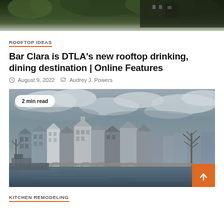[Figure (photo): Partial top image showing green foliage and dark building/roof]
ROOFTOP IDEAS
Bar Clara is DTLA's new rooftop drinking, dining destination | Online Features
August 9, 2022   Audrey J. Powers
[Figure (photo): City canal waterfront with historic European buildings, cloudy sky, bridge in background; badge reading '2 min read' overlaid at top left; orange back-to-top button at bottom right]
KITCHEN REMODELING